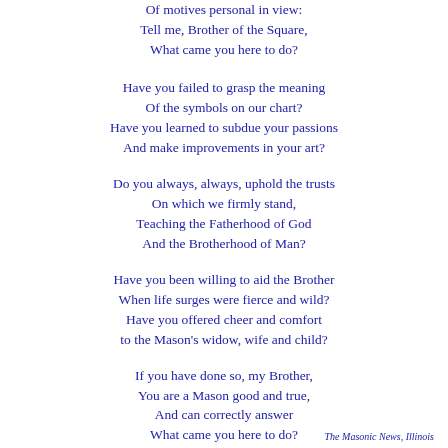Of motives personal in view:
Tell me, Brother of the Square,
What came you here to do?

Have you failed to grasp the meaning
Of the symbols on our chart?
Have you learned to subdue your passions
And make improvements in your art?

Do you always, always, uphold the trusts
On which we firmly stand,
Teaching the Fatherhood of God
And the Brotherhood of Man?

Have you been willing to aid the Brother
When life surges were fierce and wild?
Have you offered cheer and comfort
to the Mason's widow, wife and child?

If you have done so, my Brother,
You are a Mason good and true,
And can correctly answer
What came you here to do?
The Masonic News, Illinois